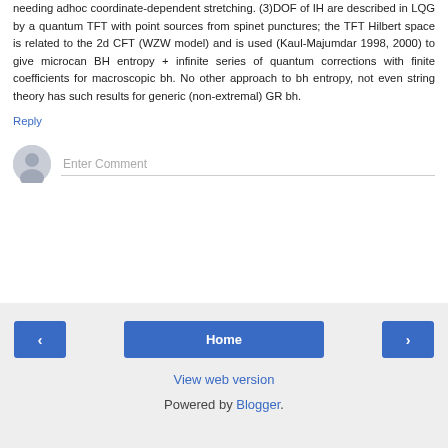needing adhoc coordinate-dependent stretching. (3)DOF of IH are described in LQG by a quantum TFT with point sources from spinet punctures; the TFT Hilbert space is related to the 2d CFT (WZW model) and is used (Kaul-Majumdar 1998, 2000) to give microcan BH entropy + infinite series of quantum corrections with finite coefficients for macroscopic bh. No other approach to bh entropy, not even string theory has such results for generic (non-extremal) GR bh.
Reply
[Figure (other): User avatar placeholder — grey circle with silhouette icon]
Enter Comment
‹  Home  ›  View web version  Powered by Blogger.